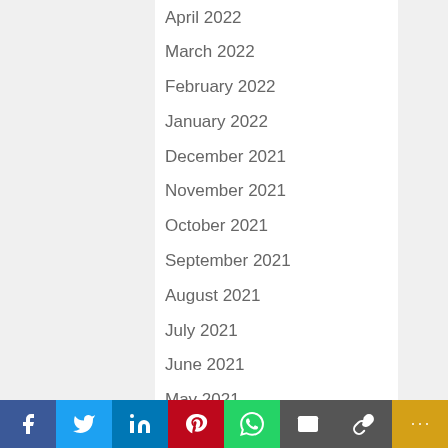April 2022
March 2022
February 2022
January 2022
December 2021
November 2021
October 2021
September 2021
August 2021
July 2021
June 2021
May 2021
April 2021
March 2021
February 2021
January 2021
[Figure (infographic): Social sharing bar with icons for Facebook, Twitter, LinkedIn, Pinterest, WhatsApp, Email, Link, and More]